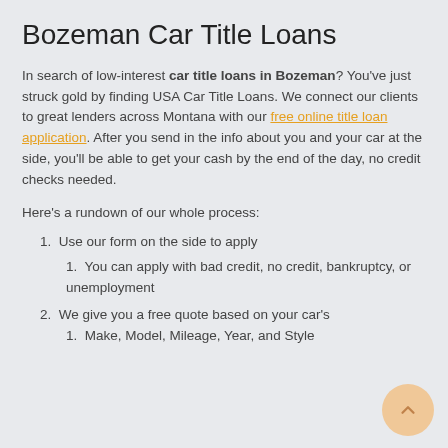Bozeman Car Title Loans
In search of low-interest car title loans in Bozeman? You've just struck gold by finding USA Car Title Loans. We connect our clients to great lenders across Montana with our free online title loan application. After you send in the info about you and your car at the side, you'll be able to get your cash by the end of the day, no credit checks needed.
Here's a rundown of our whole process:
1. Use our form on the side to apply
1. You can apply with bad credit, no credit, bankruptcy, or unemployment
2. We give you a free quote based on your car's
1. Make, Model, Mileage, Year, and Style